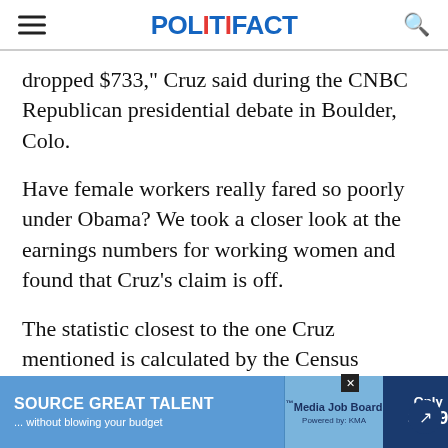POLITIFACT
dropped $733," Cruz said during the CNBC Republican presidential debate in Boulder, Colo.
Have female workers really fared so poorly under Obama? We took a closer look at the earnings numbers for working women and found that Cruz’s claim is off.
The statistic closest to the one Cruz mentioned is calculated by the Census Bureau -- the median [earnings for women / the amount paid t...]
[Figure (screenshot): Advertisement overlay: 'SOURCE GREAT TALENT ... without blowing your budget' with Media Job Board logo and 'Only $199' offer, with a dark close button and share icon.]